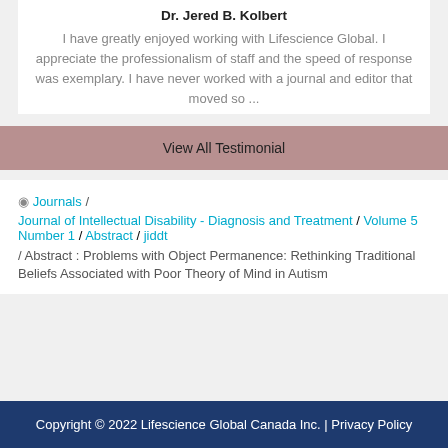Dr. Jered B. Kolbert
I have greatly enjoyed working with Lifescience Global. I appreciate the professionalism of staff and the speed of response was exemplary. I have never worked with a journal and editor that moved so ...
View All Testimonial
Journals / Journal of Intellectual Disability - Diagnosis and Treatment / Volume 5 Number 1 / Abstract / jiddt / Abstract : Problems with Object Permanence: Rethinking Traditional Beliefs Associated with Poor Theory of Mind in Autism
Copyright © 2022 Lifescience Global Canada Inc. | Privacy Policy